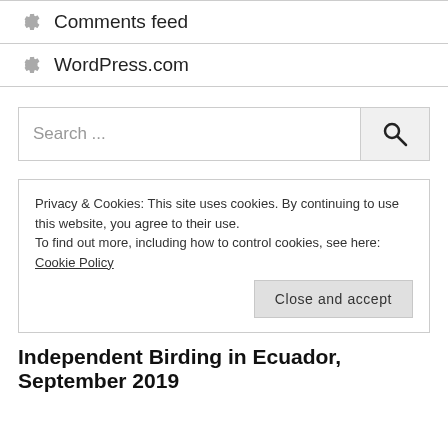Comments feed
WordPress.com
Search ...
Privacy & Cookies: This site uses cookies. By continuing to use this website, you agree to their use.
To find out more, including how to control cookies, see here: Cookie Policy
Close and accept
Independent Birding in Ecuador, September 2019